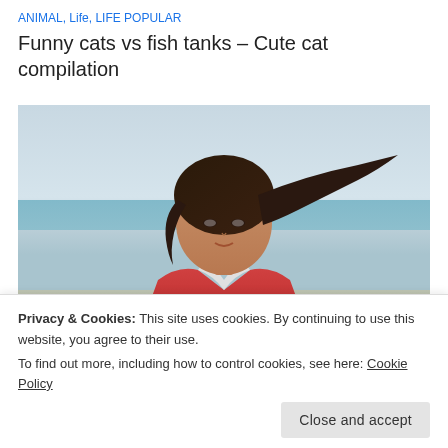ANIMAL, Life, LIFE POPULAR
Funny cats vs fish tanks – Cute cat compilation
[Figure (photo): A woman with dark hair blowing in the wind, wearing a red collared shirt, photographed outdoors near a beach with blue water in the background.]
Privacy & Cookies: This site uses cookies. By continuing to use this website, you agree to their use.
To find out more, including how to control cookies, see here: Cookie Policy
Close and accept